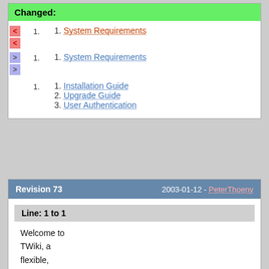Changed:
1. 1. System Requirements (old, removed)
1. 1. System Requirements (new, added)
1. 1. Installation Guide
2. Upgrade Guide
3. User Authentication
Revision 73    2003-01-12 - PeterThoeny
Line: 1 to 1
Welcome to TWiki, a flexible, powerful, and simple,